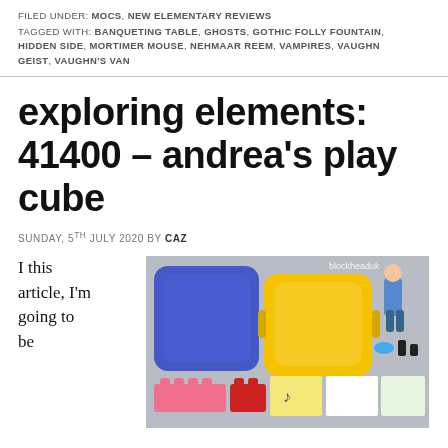FILED UNDER: MOCS, NEW ELEMENTARY REVIEWS
TAGGED WITH: BANQUETING TABLE, GHOSTS, GOTHIC FOLLY FOUNTAIN, HIDDEN SIDE, MORTIMER MOUSE, NEHMAAR REEM, VAMPIRES, VAUGHN GEIST, VAUGHN'S VAN
exploring elements: 41400 – andrea's play cube
SUNDAY, 5TH JULY 2020 BY CAZ
I this article, I'm going to be
[Figure (photo): Photo of LEGO set 41400 Andrea's Play Cube contents: blue cube case, yellow cube case, Andrea minidoll figure, pink and red bricks, sticker sheets, accessories, on grey background. Watermark: blockheaduk]